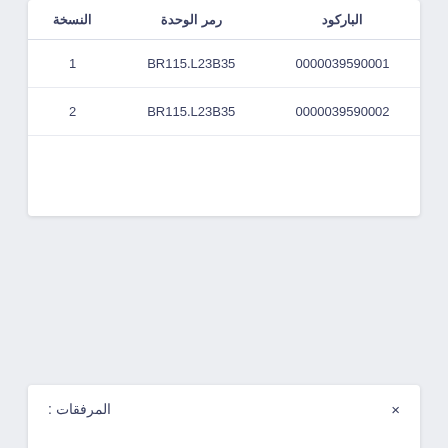| الباركود | رمر الوحدة | النسخة |
| --- | --- | --- |
| 0000039590001 | BR115.L23B35 | 1 |
| 0000039590002 | BR115.L23B35 | 2 |
|  |  |  |
المرفقات :
| العنوان | الوصف |
| --- | --- |